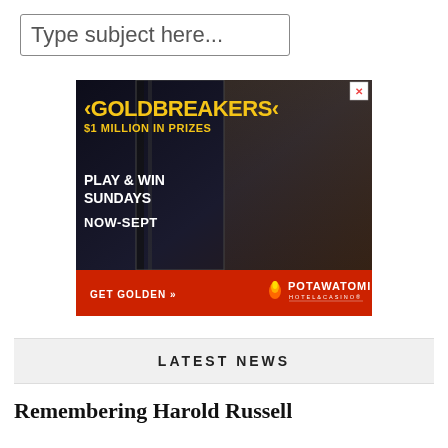Type subject here...
[Figure (photo): Potawatomi Hotel & Casino advertisement for 'Goldbreakers $1 Million in Prizes'. Shows a woman in a gold dress seated at a slot machine. Text reads: GOLDBREAKERS, $1 MILLION IN PRIZES, PLAY & WIN SUNDAYS, NOW-SEPT, GET GOLDEN, POTAWATOMI HOTEL&CASINO. Red bottom bar with close button (X) in top right corner.]
LATEST NEWS
Remembering Harold Russell